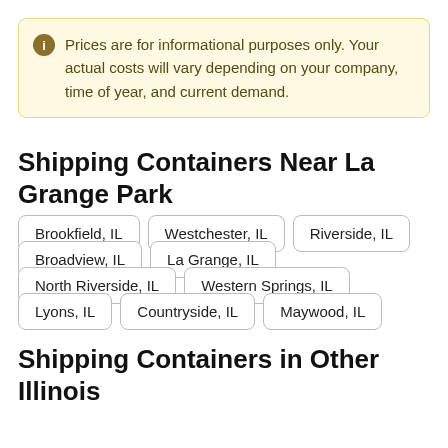Prices are for informational purposes only. Your actual costs will vary depending on your company, time of year, and current demand.
Shipping Containers Near La Grange Park
Brookfield, IL
Westchester, IL
Riverside, IL
Broadview, IL
La Grange, IL
North Riverside, IL
Western Springs, IL
Lyons, IL
Countryside, IL
Maywood, IL
Shipping Containers in Other Illinois